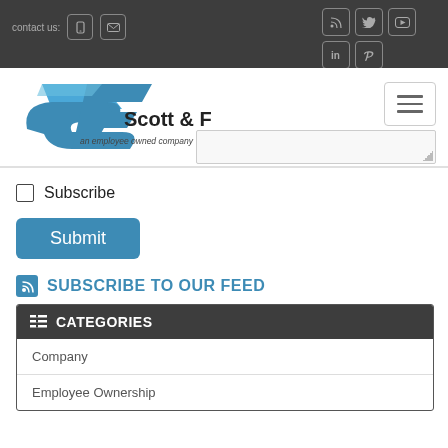contact us:  [social icons: RSS, Twitter, YouTube, LinkedIn, Pinterest]
[Figure (logo): Scott & Fyfe logo — stylized SF mark in blue with tagline 'an employee owned company']
Subscribe
Submit
SUBSCRIBE TO OUR FEED
CATEGORIES
Company
Employee Ownership